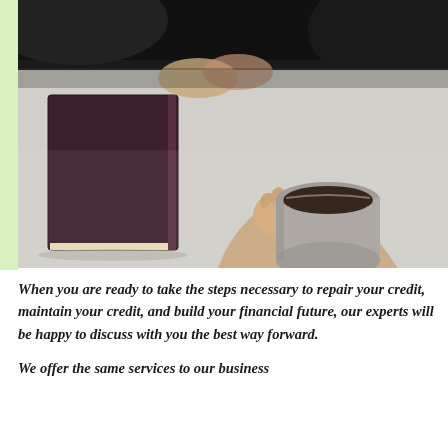[Figure (photo): Overhead view of a business meeting: a person holding a grey ceramic cup of coffee, a dark maroon book on a light grey table, with another person's hands visible in the upper portion of the frame.]
When you are ready to take the steps necessary to repair your credit, maintain your credit, and build your financial future, our experts will be happy to discuss with you the best way forward.
We offer the same services to our business